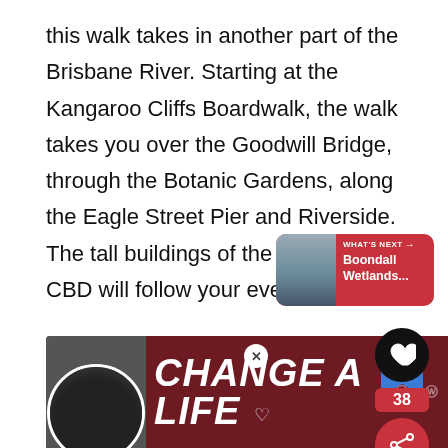this walk takes in another part of the Brisbane River. Starting at the Kangaroo Cliffs Boardwalk, the walk takes you over the Goodwill Bridge, through the Botanic Gardens, along the Eagle Street Pier and Riverside. The tall buildings of the Brisbane CBD will follow your every move.
Cross under the Story Bridge and walk through one of Brisbane's most popular precincts, the Howard Smith Wharves.
[Figure (screenshot): UI overlay showing a heart button, bookmark count of 38, share button, and a 'WHAT'S NEXT' card showing 'Boondall Wetlands...']
[Figure (screenshot): Advertisement banner showing a black dog and text 'CHANGE A LIFE' on a dark red background with a close button]